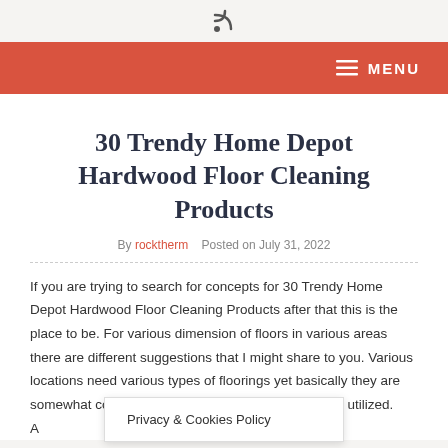RSS icon / feed icon
≡ MENU
30 Trendy Home Depot Hardwood Floor Cleaning Products
By rocktherm   Posted on July 31, 2022
If you are trying to search for concepts for 30 Trendy Home Depot Hardwood Floor Cleaning Products after that this is the place to be. For various dimension of floors in various areas there are different suggestions that I might share to you. Various locations need various types of floorings yet basically they are somewhat comparable regarding the type of it that is utilized. A... he
Privacy & Cookies Policy